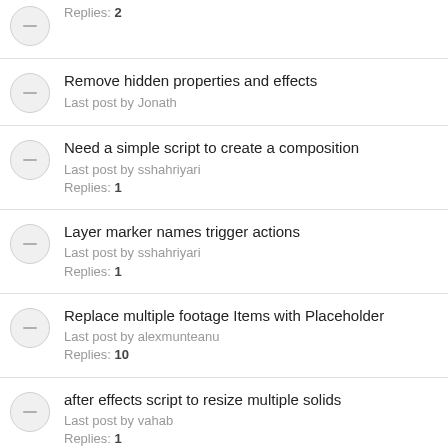Replies: 2
Remove hidden properties and effects
Last post by Jonath
Need a simple script to create a composition
Last post by sshahriyari
Replies: 1
Layer marker names trigger actions
Last post by sshahriyari
Replies: 1
Replace multiple footage Items with Placeholder
Last post by alexmunteanu
Replies: 10
after effects script to resize multiple solids
Last post by vahab
Replies: 1